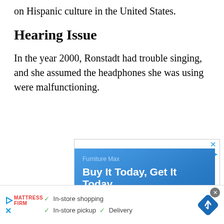on Hispanic culture in the United States.
Hearing Issue
In the year 2000, Ronstadt had trouble singing, and she assumed the headphones she was using were malfunctioning.
[Figure (screenshot): Advertisement for Furniture Max showing 'Buy It Today, Get It Today' and 'Local Doesn't Mean Limited' over a blue background, with a Google Maps view below showing McNair area with route 657 and Sunrise Valley.]
[Figure (screenshot): Bottom banner ad for Mattress Firm showing checkmarks for In-store shopping, In-store pickup, and Delivery, with a blue navigation arrow diamond icon on the right.]